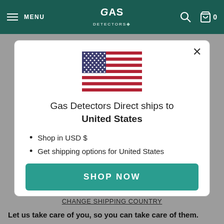MENU | GAS DETECTORS DIRECT | Search | Cart 0
[Figure (illustration): United States flag]
Gas Detectors Direct ships to United States
Shop in USD $
Get shipping options for United States
SHOP NOW
CHANGE SHIPPING COUNTRY
Let us take care of you, so you can take care of them.